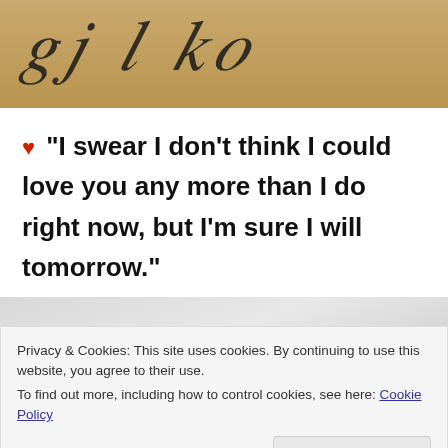[Figure (photo): Aged parchment-colored background with cursive script lettering in black ink, partially visible]
♥ "I swear I don't think I could love you any more than I do right now, but I'm sure I will tomorrow."
[Figure (photo): Light gray crumpled paper or fabric texture]
Privacy & Cookies: This site uses cookies. By continuing to use this website, you agree to their use.
To find out more, including how to control cookies, see here: Cookie Policy
Close and accept